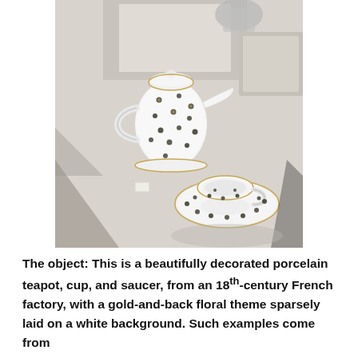[Figure (photo): A museum display showing a white porcelain teapot with small dark floral/dot pattern and a matching cup and saucer set with the same gold-and-dark floral decoration on a light grey-beige surface, photographed from above at a slight angle.]
The object: This is a beautifully decorated porcelain teapot, cup, and saucer, from an 18th-century French factory, with a gold-and-back floral theme sparsely laid on a white background. Such examples come from